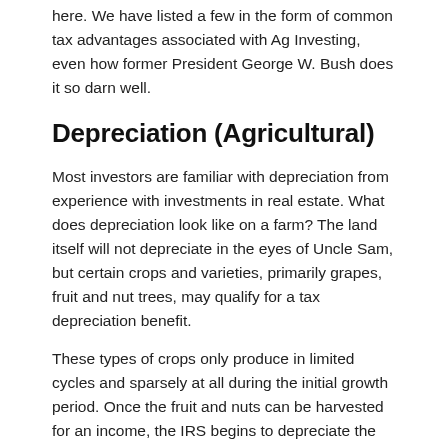here. We have listed a few in the form of common tax advantages associated with Ag Investing, even how former President George W. Bush does it so darn well.
Depreciation (Agricultural)
Most investors are familiar with depreciation from experience with investments in real estate. What does depreciation look like on a farm? The land itself will not depreciate in the eyes of Uncle Sam, but certain crops and varieties, primarily grapes, fruit and nut trees, may qualify for a tax depreciation benefit.
These types of crops only produce in limited cycles and sparsely at all during the initial growth period. Once the fruit and nuts can be harvested for an income, the IRS begins to depreciate the asset under the General Depreciation System (GDS) over a ten-year recovery period. Also Note: capital improvements may be deducted from gross income as depreciation expense. These advantages can be